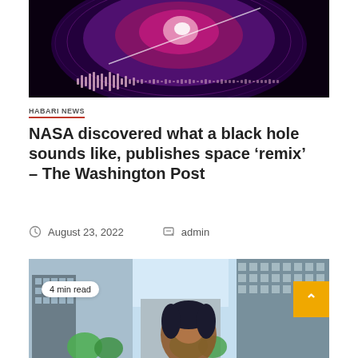[Figure (photo): Dark background with purple and pink cosmic/black hole imagery and a sound wave visualization at the bottom]
HABARI NEWS
NASA discovered what a black hole sounds like, publishes space ‘remix’ – The Washington Post
August 23, 2022   admin
[Figure (photo): Outdoor city scene with buildings, trees, and a large mural of a woman's face on a billboard. Badge showing '4 min read'. Yellow scroll-to-top button in bottom right.]